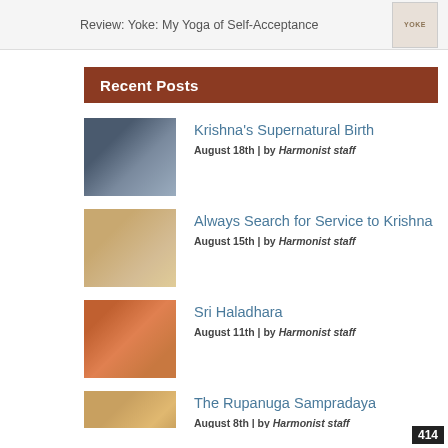Review: Yoke: My Yoga of Self-Acceptance
Recent Posts
Krishna's Supernatural Birth
August 18th | by Harmonist staff
Always Search for Service to Krishna
August 15th | by Harmonist staff
Sri Haladhara
August 11th | by Harmonist staff
The Rupanuga Sampradaya
August 8th | by Harmonist staff
Real Love and Beauty
August 4th | by Harmonist staff
414